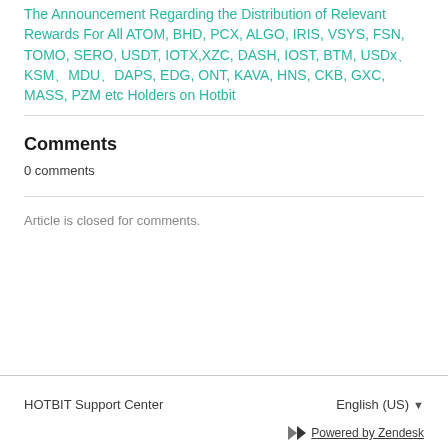The Announcement Regarding the Distribution of Relevant Rewards For All ATOM, BHD, PCX, ALGO, IRIS, VSYS, FSN, TOMO, SERO, USDT, IOTX,XZC, DASH, IOST, BTM, USDx、KSM、MDU、DAPS, EDG, ONT, KAVA, HNS, CKB, GXC, MASS, PZM etc Holders on Hotbit
Comments
0 comments
Article is closed for comments.
HOTBIT Support Center   English (US)   Powered by Zendesk